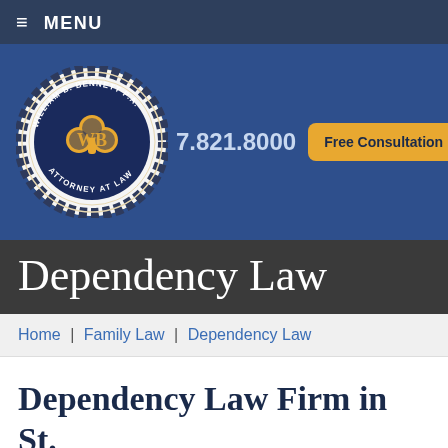≡ MENU
[Figure (logo): William B. Bennett P.A. Attorney at Law circular seal logo with shamrock/clover in gold and navy]
7.821.8000
Free Consultation
Dependency Law
Home | Family Law | Dependency Law
Dependency Law Firm in St.